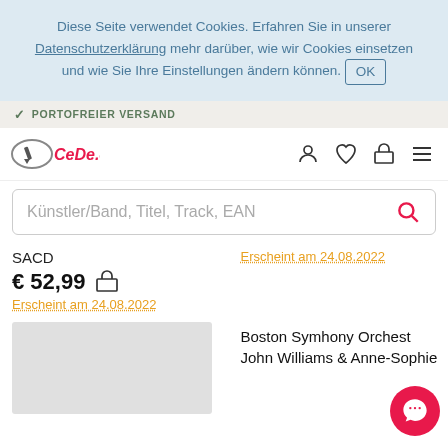Diese Seite verwendet Cookies. Erfahren Sie in unserer Datenschutzerklärung mehr darüber, wie wir Cookies einsetzen und wie Sie Ihre Einstellungen ändern können. OK
✓ PORTOFREIER VERSAND
[Figure (logo): CeDe.com logo with navigation icons (user, heart, basket, menu)]
Künstler/Band, Titel, Track, EAN
SACD
€ 52,99
Erscheint am 24.08.2022
Erscheint am 24.08.2022
[Figure (photo): Product image placeholder (grey box)]
Boston Symhony Orchestra
John Williams & Anne-Sophie